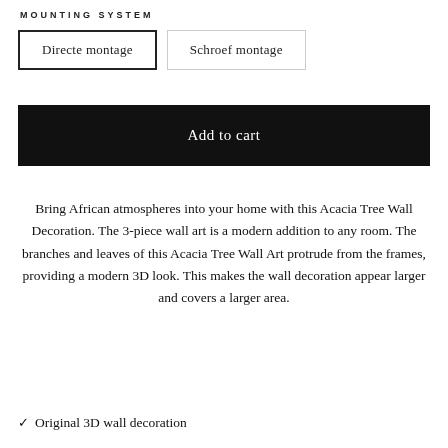MOUNTING SYSTEM
Directe montage | Schroef montage
Add to cart
Bring African atmospheres into your home with this Acacia Tree Wall Decoration. The 3-piece wall art is a modern addition to any room. The branches and leaves of this Acacia Tree Wall Art protrude from the frames, providing a modern 3D look. This makes the wall decoration appear larger and covers a larger area.
✓ Original 3D wall decoration